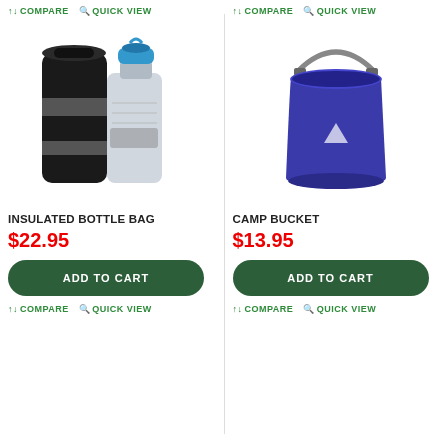↑↓ COMPARE  🔍 QUICK VIEW
[Figure (photo): Insulated bottle bag (black neoprene sleeve) with a clear plastic water bottle with blue cap next to it]
INSULATED BOTTLE BAG
$22.95
ADD TO CART
↑↓ COMPARE  🔍 QUICK VIEW
↑↓ COMPARE  🔍 QUICK VIEW
[Figure (photo): Blue collapsible camp bucket with a metal handle]
CAMP BUCKET
$13.95
ADD TO CART
↑↓ COMPARE  🔍 QUICK VIEW